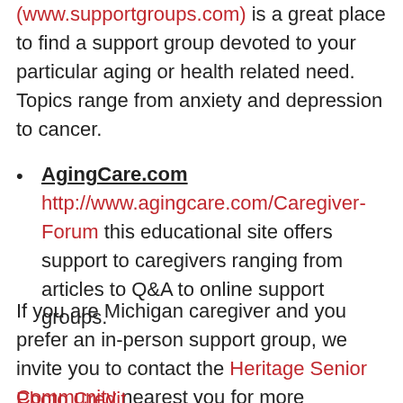(www.supportgroups.com) is a great place to find a support group devoted to your particular aging or health related need. Topics range from anxiety and depression to cancer.
AgingCare.com http://www.agingcare.com/Caregiver-Forum this educational site offers support to caregivers ranging from articles to Q&A to online support groups.
If you are Michigan caregiver and you prefer an in-person support group, we invite you to contact the Heritage Senior Community nearest you for more information.
Photo Credit